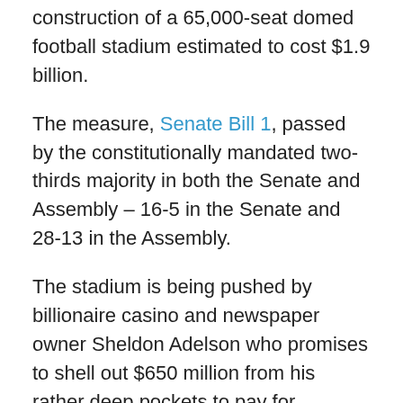construction of a 65,000-seat domed football stadium estimated to cost $1.9 billion.
The measure, Senate Bill 1, passed by the constitutionally mandated two-thirds majority in both the Senate and Assembly – 16-5 in the Senate and 28-13 in the Assembly.
The stadium is being pushed by billionaire casino and newspaper owner Sheldon Adelson who promises to shell out $650 million from his rather deep pockets to pay for construction. The National Football League and the Oakland Raiders are supposed to contribute $500 million toward construction. The $750 million public sop is the largest ever by any public entity for a sports facility in this country.
All profits from stadium operations accrue strictly to the